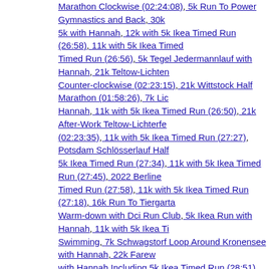Marathon Clockwise (02:24:08), 5k Run To Power Gymnastics and Back, 30k 5k with Hannah, 12k with 5k Ikea Timed Run (26:58), 11k with 5k Ikea Timed Run (26:56), 5k Tegel Jedermannlauf with Hannah, 21k Teltow-Lichterfelde Counter-clockwise (02:23:15), 21k Wittstock Half Marathon (01:58:26), 7k Lichterfelde with Hannah, 11k with 5k Ikea Timed Run (26:50), 21k After-Work Teltow-Lichterfelde (02:23:35), 11k with 5k Ikea Timed Run (27:27), Potsdam Schlösserlauf Half Marathon, 5k Ikea Timed Run (27:34), 11k with 5k Ikea Timed Run (27:45), 2022 Berlin Marathon Timed Run (27:58), 11k with 5k Ikea Timed Run (27:18), 16k Run To Tiergarten Warm-down with Dci Run Club, 5k Ikea Run with Hannah, 11k with 5k Ikea Timed Swimming, 7k Schwagstorf Loop Around Kronensee with Hannah, 22k Farewell Run with Hannah Including 5k Ikea Timed Run (28:51), 12k Including 5k Ikea Timed Run on Hohenzollerdamm To Steglitz Run, SHOW ALL 590